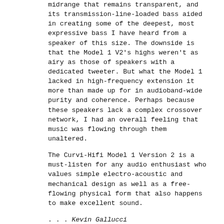midrange that remains transparent, and its transmission-line-loaded bass aided in creating some of the deepest, most expressive bass I have heard from a speaker of this size. The downside is that the Model 1 V2's highs weren't as airy as those of speakers with a dedicated tweeter. But what the Model 1 lacked in high-frequency extension it more than made up for in audioband-wide purity and coherence. Perhaps because these speakers lack a complex crossover network, I had an overall feeling that music was flowing through them unaltered.
The Curvi-Hifi Model 1 Version 2 is a must-listen for any audio enthusiast who values simple electro-acoustic and mechanical design as well as a free-flowing physical form that also happens to make excellent sound.
. . . Kevin Gallucci
keving@soundstagenetwork.com
Curvi-Hifi Model 1 Version 2 Loudspeakers
Price: $8000 USD per pair.